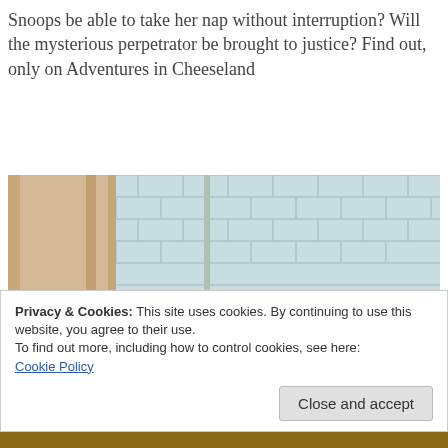Snoops be able to take her nap without interruption? Will the mysterious perpetrator be brought to justice? Find out, only on Adventures in Cheeseland
[Figure (photo): A cat sleeping by a window, viewed from above. The cat has white and orange fur. Outside the window is a tiled/shingled rooftop. The room interior shows wooden door frames.]
Privacy & Cookies: This site uses cookies. By continuing to use this website, you agree to their use.
To find out more, including how to control cookies, see here:
Cookie Policy
Close and accept